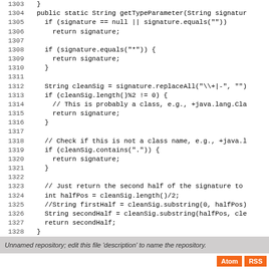Code listing lines 1303-1330 showing getTypeParameter Java method
Unnamed repository; edit this file 'description' to name the repository.